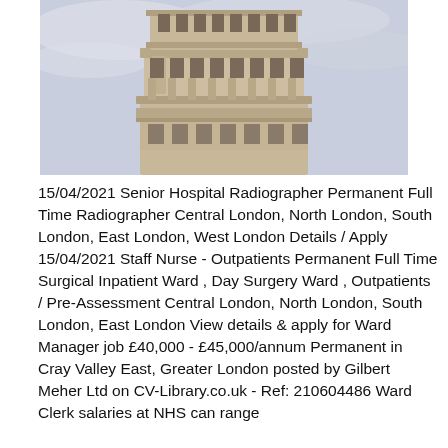[Figure (photo): Close-up photograph of the Leaning Tower of Pisa showing the upper tiers with arched colonnades against a pale sky with light clouds.]
15/04/2021 Senior Hospital Radiographer Permanent Full Time Radiographer Central London, North London, South London, East London, West London Details / Apply 15/04/2021 Staff Nurse - Outpatients Permanent Full Time Surgical Inpatient Ward , Day Surgery Ward , Outpatients / Pre-Assessment Central London, North London, South London, East London View details & apply for Ward Manager job £40,000 - £45,000/annum Permanent in Cray Valley East, Greater London posted by Gilbert Meher Ltd on CV-Library.co.uk - Ref: 210604486 Ward Clerk salaries at NHS can range